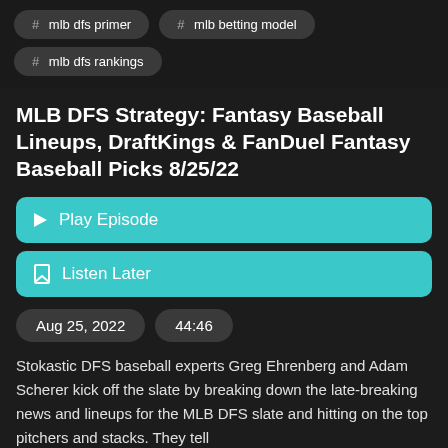# mlb dfs primer
# mlb betting model
# mlb dfs rankings
MLB DFS Strategy: Fantasy Baseball Lineups, DraftKings & FanDuel Fantasy Baseball Picks 8/25/22
Play Episode
Listen Later
Aug 25, 2022
44:46
Stokastic DFS baseball experts Greg Ehrenberg and Adam Scherer kick off the slate by breaking down the late-breaking news and lineups for the MLB DFS slate and hitting on the top pitchers and stacks. They tell